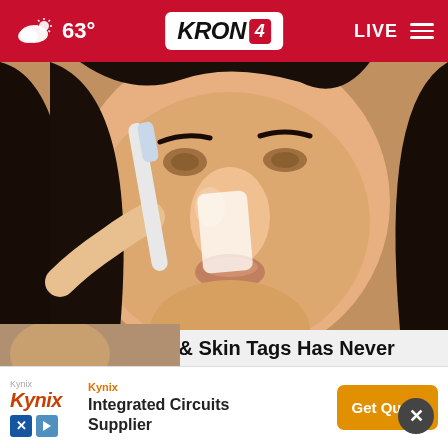63° KRON 4 LIVE
[Figure (photo): Close-up photo of a woman with dark hair applying something white with a brush or strip to her nose]
Removing Moles & Skin Tags Has Never Been This Easy
Healthier Living Tips
[Figure (other): Advertisement banner for Kynix Integrated Circuits Supplier with a Get Quote button]
[Figure (photo): Partial bottom image partially cut off]